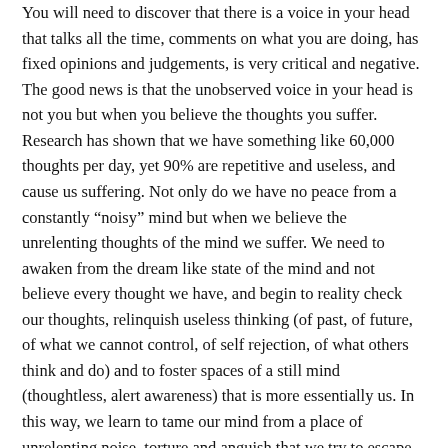You will need to discover that there is a voice in your head that talks all the time, comments on what you are doing, has fixed opinions and judgements, is very critical and negative. The good news is that the unobserved voice in your head is not you but when you believe the thoughts you suffer. Research has shown that we have something like 60,000 thoughts per day, yet 90% are repetitive and useless, and cause us suffering. Not only do we have no peace from a constantly “noisy” mind but when we believe the unrelenting thoughts of the mind we suffer. We need to awaken from the dream like state of the mind and not believe every thought we have, and begin to reality check our thoughts, relinquish useless thinking (of past, of future, of what we cannot control, of self rejection, of what others think and do) and to foster spaces of a still mind (thoughtless, alert awareness) that is more essentially us. In this way, we learn to tame our mind from a place of unrelenting noise, torture and anguish that we try to escape (through all manner of addictions) to a kind and peaceful resting home where we love to be and where thinking is optional (a state of desireless, spacious awareness). This is the journey